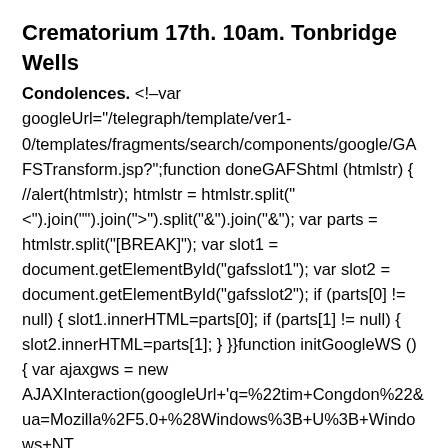Crematorium 17th. 10am. Tonbridge Wells
Condolences. <!--var googleUrl="/telegraph/template/ver1-0/templates/fragments/search/components/google/GAFSTransform.jsp?";function doneGAFShtml (htmlstr) { //alert(htmlstr); htmlstr = htmlstr.split("<").join("").join(">").split("&").join("&"); var parts = htmlstr.split("[BREAK]"); var slot1 = document.getElementById("gafsslot1"); var slot2 = document.getElementById("gafsslot2"); if (parts[0] != null) { slot1.innerHTML=parts[0]; if (parts[1] != null) { slot2.innerHTML=parts[1]; } }}function initGoogleWS () { var ajaxgws = new AJAXInteraction(googleUrl+'q=%22tim+Congdon%22&ua=Mozilla%2F5.0+%28Windows%3B+U%3B+Windows+NT